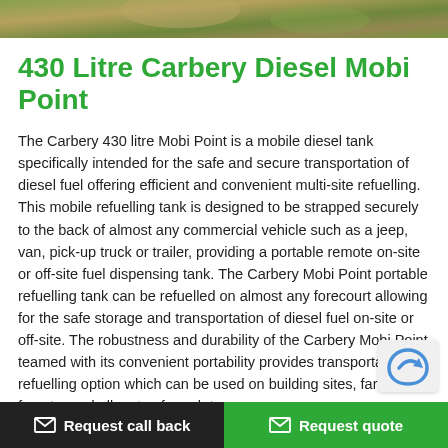[Figure (photo): Partial photo strip at the top of the page showing an outdoor scene with green and brown tones (animal/nature)]
430 Litre Carbery Diesel Mobi Point
The Carbery 430 litre Mobi Point is a mobile diesel tank specifically intended for the safe and secure transportation of diesel fuel offering efficient and convenient multi-site refuelling. This mobile refuelling tank is designed to be strapped securely to the back of almost any commercial vehicle such as a jeep, van, pick-up truck or trailer, providing a portable remote on-site or off-site fuel dispensing tank. The Carbery Mobi Point portable refuelling tank can be refuelled on almost any forecourt allowing for the safe storage and transportation of diesel fuel on-site or off-site. The robustness and durability of the Carbery Mobi Point teamed with its convenient portability provides transportable refuelling option which can be used on building sites, farms, forestry and all sorts of rough te
Request call back   Request quote